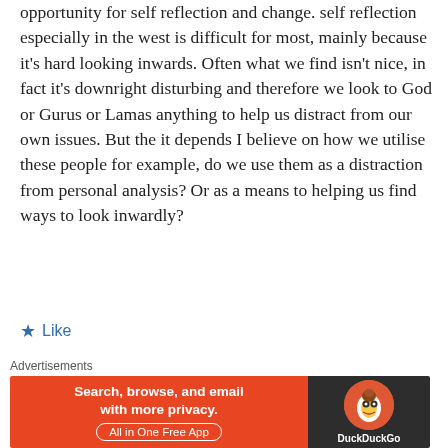opportunity for self reflection and change. self reflection especially in the west is difficult for most, mainly because it’s hard looking inwards. Often what we find isn’t nice, in fact it’s downright disturbing and therefore we look to God or Gurus or Lamas anything to help us distract from our own issues. But the it depends I believe on how we utilise these people for example, do we use them as a distraction from personal analysis? Or as a means to helping us find ways to look inwardly?
★ Like
★ quantumpreceptor
FEBRUARY 9, 2019 AT 19:24
[Figure (infographic): DuckDuckGo advertisement banner: orange left panel with text 'Search, browse, and email with more privacy. All in One Free App', dark right panel with DuckDuckGo logo and brand name.]